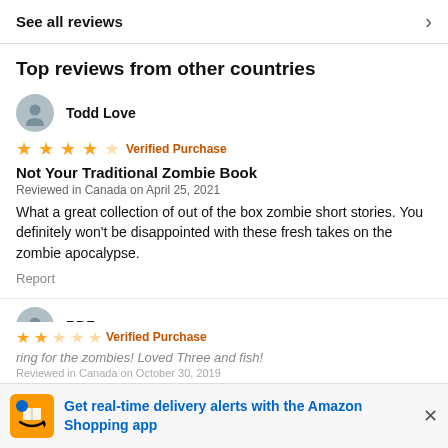See all reviews
Top reviews from other countries
Todd Love
★★★★☆ Verified Purchase
Not Your Traditional Zombie Book
Reviewed in Canada on April 25, 2021
What a great collection of out of the box zombie short stories. You definitely won't be disappointed with these fresh takes on the zombie apocalypse.
Report
RDZ
★★★★★ Verified Purchase
ring for the zombies! Loved Three and fish!
Reviewed in Canada on October 30, 2019
Get real-time delivery alerts with the Amazon Shopping app